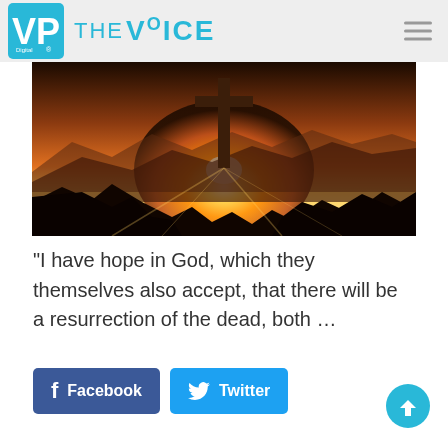VP Digital THE VOICE
[Figure (photo): A wooden cross silhouetted against a bright sunrise over a rocky mountain landscape, with golden light radiating from behind the cross and misty mountain ridges in the background.]
“I have hope in God, which they themselves also accept, that there will be a resurrection of the dead, both …
Facebook  Twitter